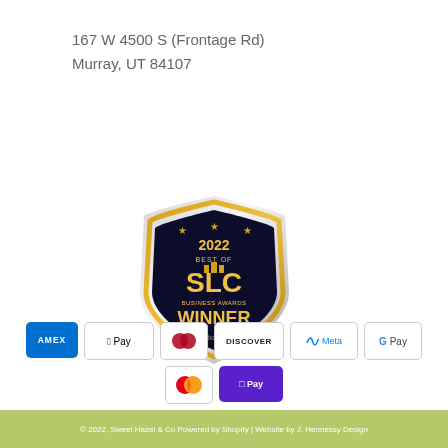167 W 4500 S (Frontage Rd)
Murray, UT 84107
[Figure (logo): 2022 Best of SLC Business Awards Winner badge - shield shaped award with gold trim, black background, stars, building icon, and text reading 2022 BEST OF SLC BUSINESS AWARDS WINNER inbound]
[Figure (infographic): Payment method icons: American Express, Apple Pay, Diners Club, Discover, Meta Pay, Google Pay, Mastercard, ShopPay, Visa]
© 2022, Sweet Hazel & Co Powered by Shopify | Website by J. Hennessy Design